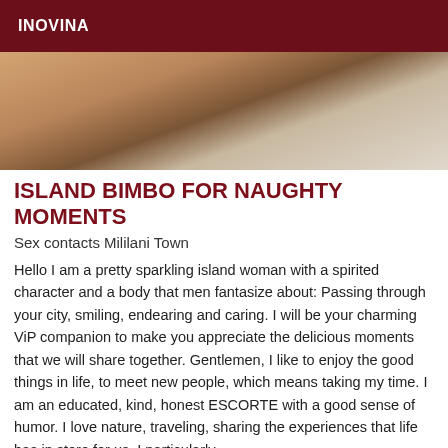INOVINA
[Figure (photo): Cropped photo showing a person's shoulder and neck area with warm skin tones and a light-colored fabric/clothing in the background]
ISLAND BIMBO FOR NAUGHTY MOMENTS
Sex contacts Mililani Town
Hello I am a pretty sparkling island woman with a spirited character and a body that men fantasize about: Passing through your city, smiling, endearing and caring. I will be your charming ViP companion to make you appreciate the delicious moments that we will share together. Gentlemen, I like to enjoy the good things in life, to meet new people, which means taking my time. I am an educated, kind, honest ESCORTE with a good sense of humor. I love nature, traveling, sharing the experiences that life has in store for us. I particularly